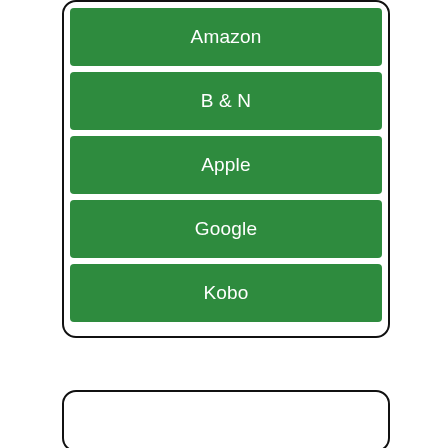Amazon
B & N
Apple
Google
Kobo
[Figure (screenshot): Partial view of a second card with text 'Playing' partially visible]